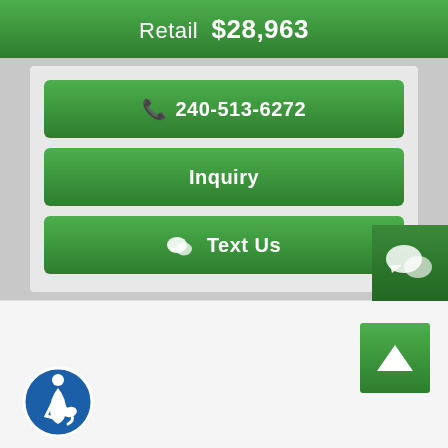Retail $28,963
240-513-6272
Inquiry
Text Us
[Figure (illustration): Green chat bubble widget icon in bottom right corner]
[Figure (illustration): Green scroll-to-top button with caret/chevron up arrow]
[Figure (illustration): Accessibility (wheelchair user) icon in blue circle, bottom left]